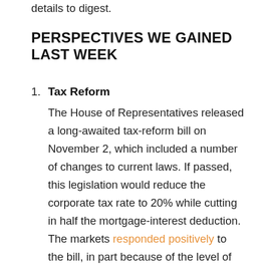details to digest.
PERSPECTIVES WE GAINED LAST WEEK
Tax Reform
The House of Representatives released a long-awaited tax-reform bill on November 2, which included a number of changes to current laws. If passed, this legislation would reduce the corporate tax rate to 20% while cutting in half the mortgage-interest deduction. The markets responded positively to the bill, in part because of the level of detail it included.